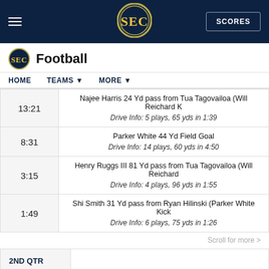SEC Football — SCORES
SEC Football
| Time | Play Description |
| --- | --- |
| 13:21 | Najee Harris 24 Yd pass from Tua Tagovailoa (Will Reichard K | Drive Info: 5 plays, 65 yds in 1:39 |
| 8:31 | Parker White 44 Yd Field Goal | Drive Info: 14 plays, 60 yds in 4:50 |
| 3:15 | Henry Ruggs III 81 Yd pass from Tua Tagovailoa (Will Reichard | Drive Info: 4 plays, 96 yds in 1:55 |
| 1:49 | Shi Smith 31 Yd pass from Ryan Hilinski (Parker White Kick | Drive Info: 6 plays, 75 yds in 1:26 |
Scroll for more >
| Quarter |  |
| --- | --- |
| 2ND QTR |  |